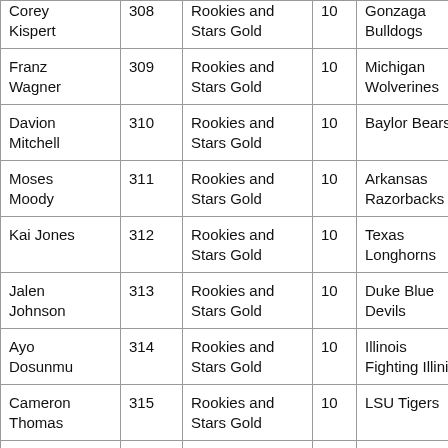| Player | Card # | Set | Print Run | College |
| --- | --- | --- | --- | --- |
| Corey Kispert | 308 | Rookies and Stars Gold | 10 | Gonzaga Bulldogs |
| Franz Wagner | 309 | Rookies and Stars Gold | 10 | Michigan Wolverines |
| Davion Mitchell | 310 | Rookies and Stars Gold | 10 | Baylor Bears |
| Moses Moody | 311 | Rookies and Stars Gold | 10 | Arkansas Razorbacks |
| Kai Jones | 312 | Rookies and Stars Gold | 10 | Texas Longhorns |
| Jalen Johnson | 313 | Rookies and Stars Gold | 10 | Duke Blue Devils |
| Ayo Dosunmu | 314 | Rookies and Stars Gold | 10 | Illinois Fighting Illini |
| Cameron Thomas | 315 | Rookies and Stars Gold | 10 | LSU Tigers |